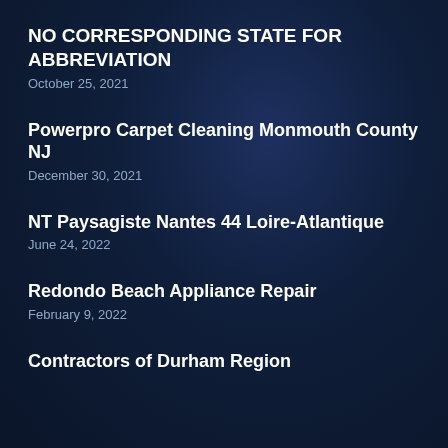NO CORRESPONDING STATE FOR ABBREVIATION
October 25, 2021
Powerpro Carpet Cleaning Monmouth County NJ
December 30, 2021
NT Paysagiste Nantes 44 Loire-Atlantique
June 24, 2022
Redondo Beach Appliance Repair
February 9, 2022
Contractors of Durham Region